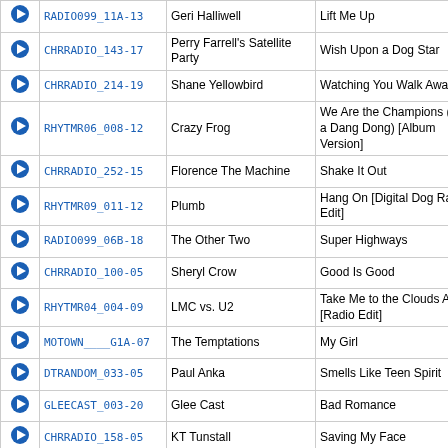|  | Code | Artist | Title |
| --- | --- | --- | --- |
| ▶ | RADIO099_11A-13 | Geri Halliwell | Lift Me Up |
| ▶ | CHRRADIO_143-17 | Perry Farrell's Satellite Party | Wish Upon a Dog Star |
| ▶ | CHRRADIO_214-19 | Shane Yellowbird | Watching You Walk Away |
| ▶ | RHYTMR06_008-12 | Crazy Frog | We Are the Champions (Ding a Dang Dong) [Album Version] |
| ▶ | CHRRADIO_252-15 | Florence The Machine | Shake It Out |
| ▶ | RHYTMR09_011-12 | Plumb | Hang On [Digital Dog Radio Edit] |
| ▶ | RADIO099_06B-18 | The Other Two | Super Highways |
| ▶ | CHRRADIO_100-05 | Sheryl Crow | Good Is Good |
| ▶ | RHYTMR04_004-09 | LMC vs. U2 | Take Me to the Clouds Above [Radio Edit] |
| ▶ | MOTOWN____G1A-07 | The Temptations | My Girl |
| ▶ | DTRANDOM_033-05 | Paul Anka | Smells Like Teen Spirit |
| ▶ | GLEECAST_003-20 | Glee Cast | Bad Romance |
| ▶ | CHRRADIO_158-05 | KT Tunstall | Saving My Face |
| ▶ | CHRRADIO_118-21 | Toby Keith | A Little Too Late |
| ▶ | CHRRADIO_132-02 | Rex Goudie | You Got to Me |
| ▶ | SHANIATW_GH1-05 | Shania Twain | Man! I Feel Like a Woman! |
| ▶ | RADIO099_09B-10 | Sheryl Crow | Sweet Child O' Mine |
| ▶ | CHRRADIO_136-05 | KT Tunstall | Other Side of the World |
| ▶ | BIGSHINY_006-15 | 3 Doors Down | Be Like That |
| ▶ | RHYTMR11_004-02 | Britney Spears | Hold It Against Me [Jump Smokers Radio Edit] |